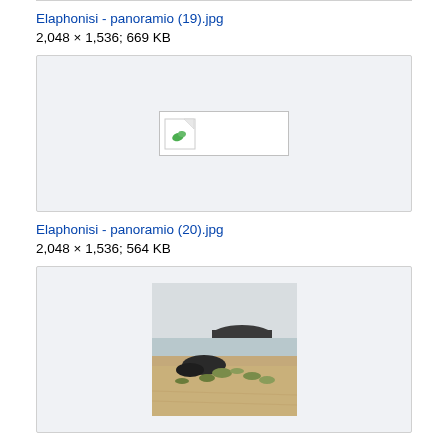Elaphonisi - panoramio (19).jpg
2,048 × 1,536; 669 KB
[Figure (photo): Broken/missing image placeholder for Elaphonisi panoramio (19).jpg]
Elaphonisi - panoramio (20).jpg
2,048 × 1,536; 564 KB
[Figure (photo): Photo showing rocky coastal landscape with scrubby vegetation in foreground and a dark rocky island or hill rising from calm water/sea in background under pale sky. Elaphonisi area, Greece.]